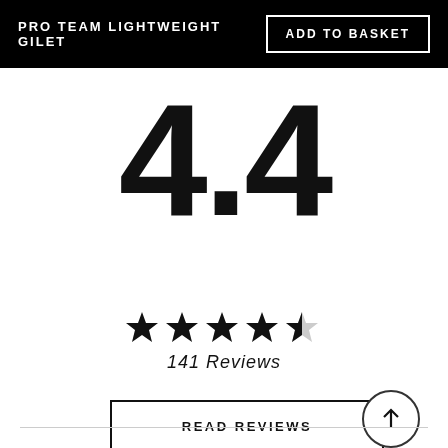PRO TEAM LIGHTWEIGHT GILET
4.4
[Figure (other): 4.4 out of 5 star rating shown as 4 full stars and 1 half star]
141 Reviews
READ REVIEWS
[Figure (other): Scroll to top button - circle with upward arrow]
[Figure (other): Chat button - dark circle with speech bubble icon]